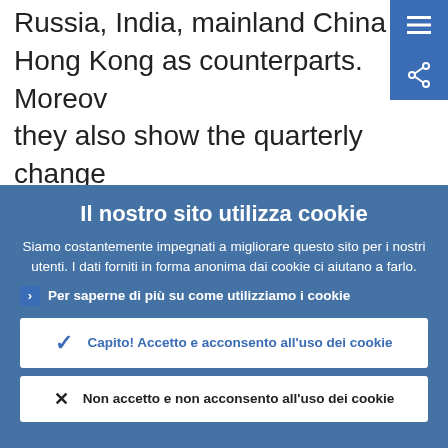Russia, India, mainland China and Hong Kong as counterparts. Moreover, they also show the quarterly changes in the overall external position of the euro area, broken down into
Il nostro sito utilizza cookie
Siamo costantemente impegnati a migliorare questo sito per i nostri utenti. I dati forniti in forma anonima dai cookie ci aiutano a farlo.
Per saperne di più su come utilizziamo i cookie
Capito! Accetto e acconsento all'uso dei cookie
Non accetto e non acconsento all'uso dei cookie